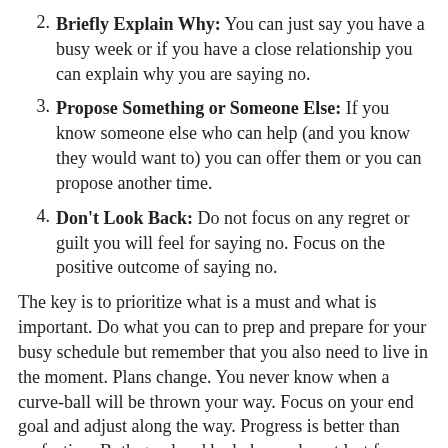2. Briefly Explain Why: You can just say you have a busy week or if you have a close relationship you can explain why you are saying no.
3. Propose Something or Someone Else: If you know someone else who can help (and you know they would want to) you can offer them or you can propose another time.
4. Don't Look Back: Do not focus on any regret or guilt you will feel for saying no. Focus on the positive outcome of saying no.
The key is to prioritize what is a must and what is important. Do what you can to prep and prepare for your busy schedule but remember that you also need to live in the moment. Plans change. You never know when a curve-ball will be thrown your way. Focus on your end goal and adjust along the way. Progress is better than perfection. Both good and bad phases do not last forever so keep going. You've got this.